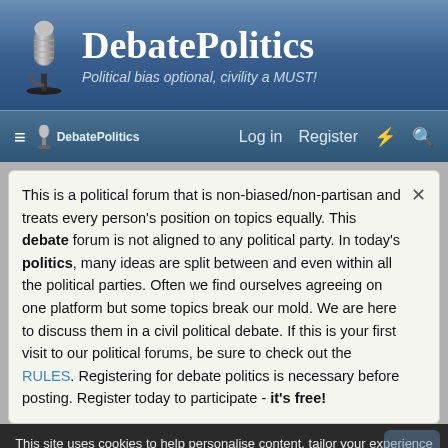DebatePolitics — Political bias optional, civility a MUST!
Log in  Register
This is a political forum that is non-biased/non-partisan and treats every person's position on topics equally. This debate forum is not aligned to any political party. In today's politics, many ideas are split between and even within all the political parties. Often we find ourselves agreeing on one platform but some topics break our mold. We are here to discuss them in a civil political debate. If this is your first visit to our political forums, be sure to check out the RULES. Registering for debate politics is necessary before posting. Register today to participate - it's free!
This site uses cookies to help personalise content, tailor your experience and to keep you logged in if you register.
By continuing to use this site, you are consenting to our use of cookies.